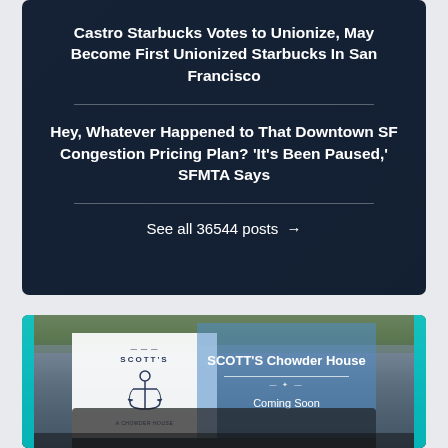Castro Starbucks Votes to Unionize, May Become First Unionized Starbucks In San Francisco
Hey, Whatever Happened to That Downtown SF Congestion Pricing Plan? ‘It’s Been Paused,’ SFMTA Says
See all 36544 posts →
[Figure (photo): Scott's Chowder House storefront with white banner showing anchor logo on left and blue Coming Soon sign on right, framed with teal borders]